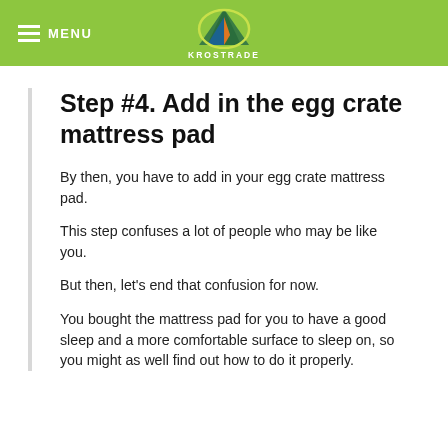MENU | KROSTRADE
Step #4. Add in the egg crate mattress pad
By then, you have to add in your egg crate mattress pad.
This step confuses a lot of people who may be like you.
But then, let's end that confusion for now.
You bought the mattress pad for you to have a good sleep and a more comfortable surface to sleep on, so you might as well find out how to do it properly.